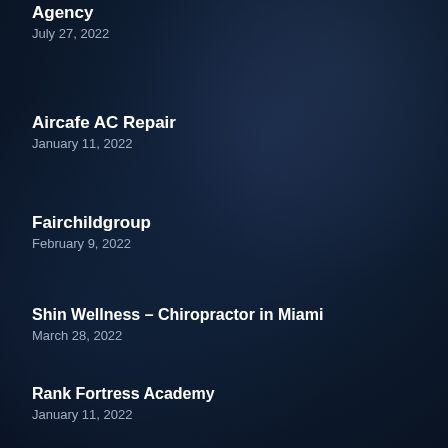Agency
July 27, 2022
Aircafe AC Repair
January 11, 2022
Fairchildgroup
February 9, 2022
Shin Wellness – Chiropractor in Miami
March 28, 2022
Rank Fortress Academy
January 11, 2022
Gregory Garage Repair
December 24, 2021